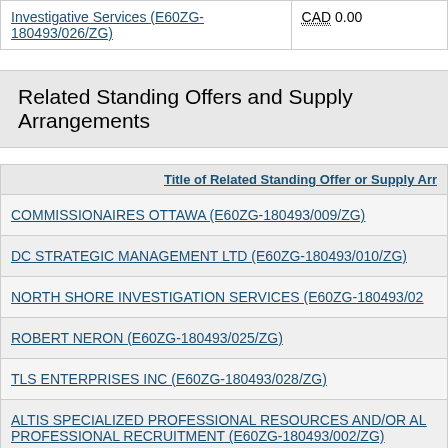|  | CAD 0.00 |
| --- | --- |
| Investigative Services (E60ZG-180493/026/ZG) | CAD 0.00 |
Related Standing Offers and Supply Arrangements
| Title of Related Standing Offer or Supply Arr... |
| --- |
| COMMISSIONAIRES OTTAWA (E60ZG-180493/009/ZG) |
| DC STRATEGIC MANAGEMENT LTD (E60ZG-180493/010/ZG) |
| NORTH SHORE INVESTIGATION SERVICES (E60ZG-180493/02... |
| ROBERT NERON (E60ZG-180493/025/ZG) |
| TLS ENTERPRISES INC (E60ZG-180493/028/ZG) |
| ALTIS SPECIALIZED PROFESSIONAL RESOURCES AND/OR ALTIS PROFESSIONAL RECRUITMENT (E60ZG-180493/002/ZG) |